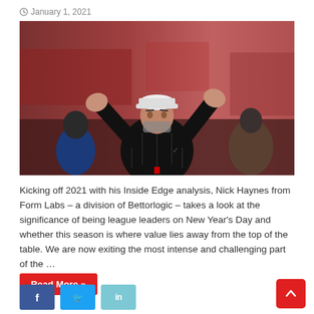January 1, 2021
[Figure (photo): A football manager (likely Jurgen Klopp) in a black puffer jacket, arms raised, on a sideline during a match. Other figures visible in the background.]
Kicking off 2021 with his Inside Edge analysis, Nick Haynes from Form Labs – a division of Bettorlogic – takes a look at the significance of being league leaders on New Year's Day and whether this season is where value lies away from the top of the table. We are now exiting the most intense and challenging part of the …
Read More »
[Figure (infographic): Social media share buttons: Facebook (blue), Twitter (light blue), LinkedIn (light teal)]